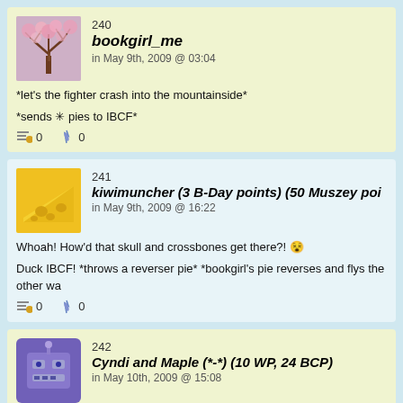240 bookgirl_me in May 9th, 2009 @ 03:04
*let's the fighter crash into the mountainside*
*sends pies to IBCF*
241 kiwimuncher (3 B-Day points) (50 Muszey poi... in May 9th, 2009 @ 16:22
Whoah! How'd that skull and crossbones get there?!
Duck IBCF! *throws a reverser pie* *bookgirl's pie reverses and flys the other wa...
242 Cyndi and Maple (*-*) (10 WP, 24 BCP) in May 10th, 2009 @ 15:08
I through a reverser pie your way, backed up by some other []} []} []} []}.